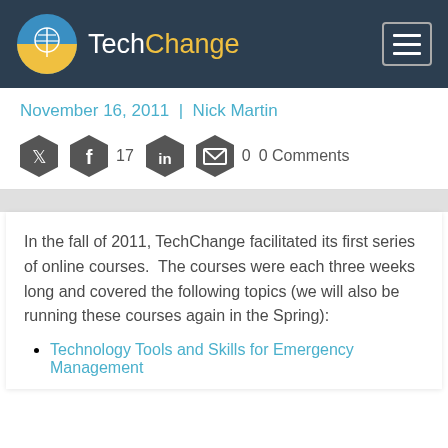TechChange
November 16, 2011  |  Nick Martin
[Figure (infographic): Social sharing icons row: Twitter hexagon, Facebook hexagon with count 17, LinkedIn hexagon, Email hexagon with count 0, and text '0 Comments']
In the fall of 2011, TechChange facilitated its first series of online courses.  The courses were each three weeks long and covered the following topics (we will also be running these courses again in the Spring):
Technology Tools and Skills for Emergency Management